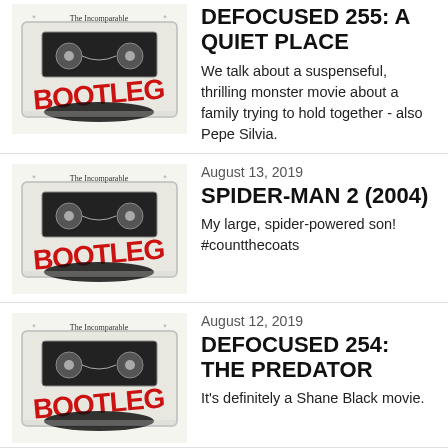[Figure (illustration): Bootleg podcast cover art - cassette tape with red graffiti-style 'BOOTLEG' text on white background, 'The Incomparable' written at top]
DEFOCUSED 255: A QUIET PLACE
We talk about a suspenseful, thrilling monster movie about a family trying to hold together - also Pepe Silvia.
[Figure (illustration): Bootleg podcast cover art - cassette tape with red graffiti-style 'BOOTLEG' text on white background, 'The Incomparable' written at top]
August 13, 2019
SPIDER-MAN 2 (2004)
My large, spider-powered son! #countthecoats
[Figure (illustration): Bootleg podcast cover art - cassette tape with red graffiti-style 'BOOTLEG' text on white background, 'The Incomparable' written at top]
August 12, 2019
DEFOCUSED 254: THE PREDATOR
It's definitely a Shane Black movie.